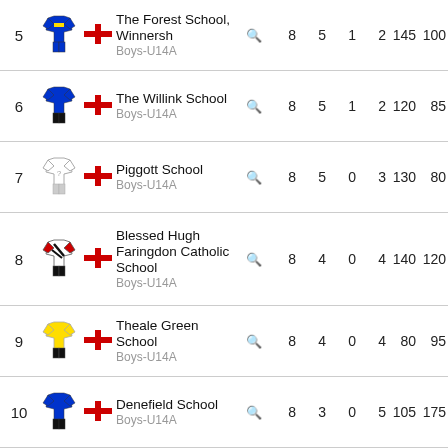| Rank | Kit | Flag | Team |  | P | W | D | L | F | A | GD |
| --- | --- | --- | --- | --- | --- | --- | --- | --- | --- | --- | --- |
| 5 |  | England | The Forest School, Winnersh
Boys-U14A |  | 8 | 5 | 1 | 2 | 145 | 100 | 45 |
| 6 |  | England | The Willink School
Boys-U14A |  | 8 | 5 | 1 | 2 | 120 | 85 | 35 |
| 7 |  | England | Piggott School
Boys-U14A |  | 8 | 5 | 0 | 3 | 130 | 80 | 50 |
| 8 |  | England | Blessed Hugh Faringdon Catholic School
Boys-U14A |  | 8 | 4 | 0 | 4 | 140 | 120 | 20 |
| 9 |  | England | Theale Green School
Boys-U14A |  | 8 | 4 | 0 | 4 | 80 | 95 | -15 |
| 10 |  | England | Denefield School
Boys-U14A |  | 8 | 3 | 0 | 5 | 105 | 175 | -70 |
| 11 |  | England | Little Heath School
Boys-U14A |  | 8 | 2 | 0 | 6 | 40 | 135 | -95 |